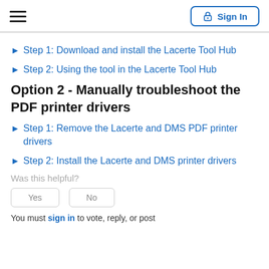Sign In
Step 1: Download and install the Lacerte Tool Hub
Step 2: Using the tool in the Lacerte Tool Hub
Option 2 - Manually troubleshoot the PDF printer drivers
Step 1: Remove the Lacerte and DMS PDF printer drivers
Step 2: Install the Lacerte and DMS printer drivers
Was this helpful?
Yes    No
You must sign in to vote, reply, or post